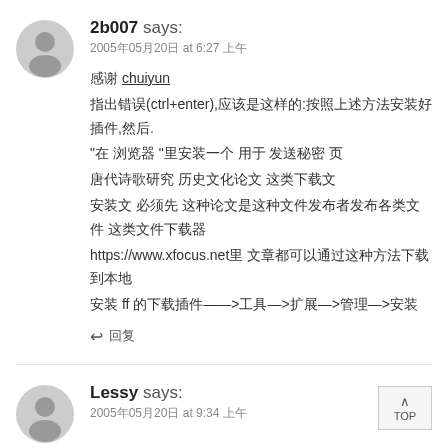2b007 says:
2005年05月20日 at 6:27 上午
感谢 chuiyun 指出错误(ctrl+enter),应该是这样的:按照上述方法安装好插件,然后. "在 浏览器 "里安装一个 用于 发送秘密 页 唐代诗歌研究 历史文化论文 这类下载文 https://www.xfocus.net里 文章都可以通过这种方法下载到本地 安装 ff 的下载插件——>工具—>扩展—>管理—>安装
回复
Lessy says:
2005年05月20日 at 9:34 上午